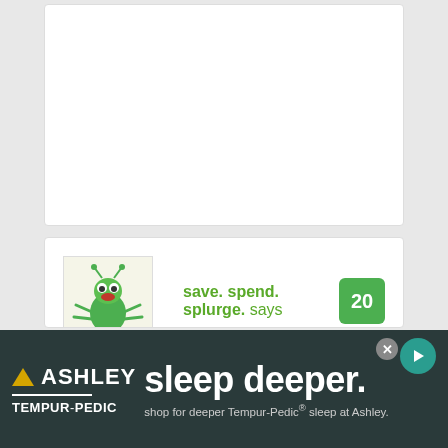[Figure (illustration): White card placeholder area at top]
[Figure (illustration): Green alien bug character avatar image]
save. spend. splurge. says
20
I have a feeling he can deduct some of those expenses as part of his taxes. As a freelancer, that's what I'd do, or at least find loopholes to be able to do it, because if he NEEDS all that lawn to be able to practice his swing and putting, it should
[Figure (screenshot): Ashley Furniture / Tempur-Pedic advertisement banner: sleep deeper. shop for deeper Tempur-Pedic sleep at Ashley.]